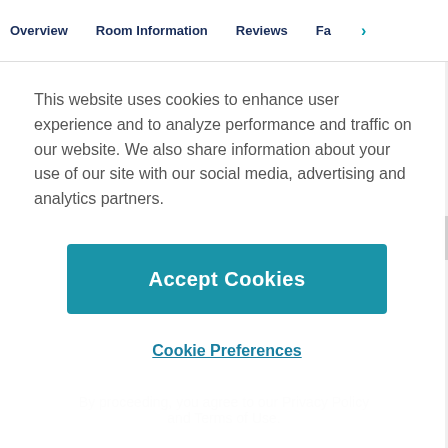Overview  Room Information  Reviews  Fa >
This website uses cookies to enhance user experience and to analyze performance and traffic on our website. We also share information about your use of our site with our social media, advertising and analytics partners.
Accept Cookies
Cookie Preferences
ADVERTISEMENT
By proceeding, you agree to our Privacy Policy and Terms of Use.